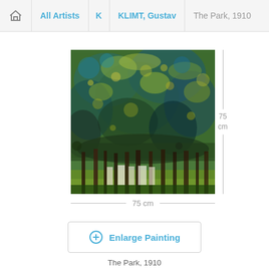Home | All Artists | K | KLIMT, Gustav | The Park, 1910
[Figure (illustration): Painting by Gustav Klimt titled 'The Park', 1910 — a dense green tree canopy with dappled light and tree trunks at the bottom]
75 cm
75 cm
Enlarge Painting
The Park, 1910